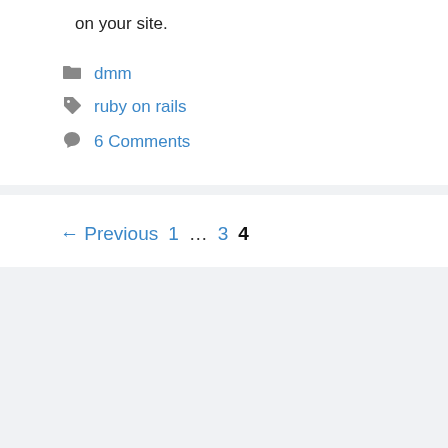on your site.
dmm
ruby on rails
6 Comments
← Previous 1 … 3 4